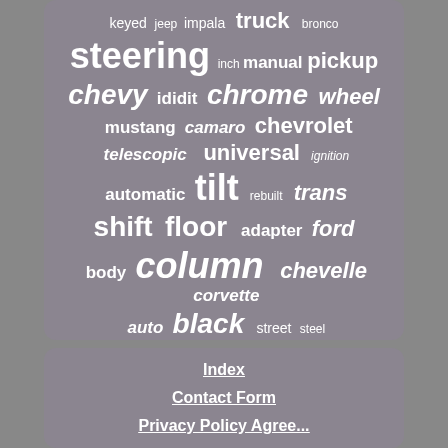[Figure (infographic): Word cloud on grey-purple background showing automotive/steering column related terms. Largest words: steering, chevy, chrome, shift, floor, column, black. Medium words: pickup, manual, mustang, camaro, chevrolet, telescopic, universal, automatic, tilt, trans, adapter, ford, chevelle, corvette, body, auto. Small words: keyed, jeep, impala, truck, bronco, inch, ididit, wheel, ignition, rebuilt, street, steel.]
Index
Contact Form
Privacy Policy Agreement